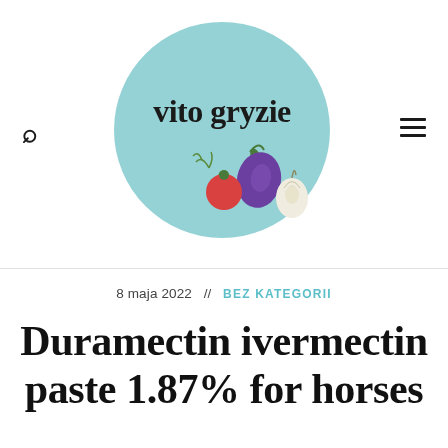[Figure (logo): vito gryzie food blog logo: teal/light blue circle with illustrated vegetables (eggplant, garlic, tomato, herbs) and text 'vito gryzie' in dark serif font]
8 maja 2022  //  BEZ KATEGORII
Duramectin ivermectin paste 1.87% for horses